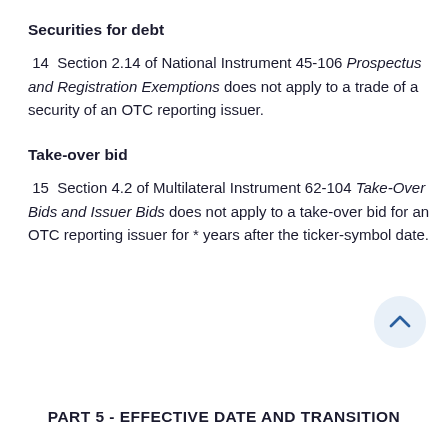Securities for debt
14  Section 2.14 of National Instrument 45-106 Prospectus and Registration Exemptions does not apply to a trade of a security of an OTC reporting issuer.
Take-over bid
15  Section 4.2 of Multilateral Instrument 62-104 Take-Over Bids and Issuer Bids does not apply to a take-over bid for an OTC reporting issuer for * years after the ticker-symbol date.
PART 5 - EFFECTIVE DATE AND TRANSITION